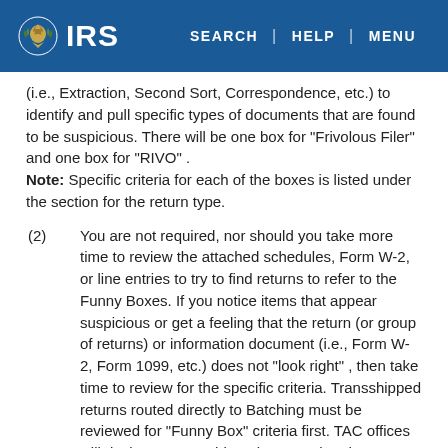IRS | SEARCH | HELP | MENU
(i.e., Extraction, Second Sort, Correspondence, etc.) to identify and pull specific types of documents that are found to be suspicious. There will be one box for "Frivolous Filer" and one box for "RIVO" . Note: Specific criteria for each of the boxes is listed under the section for the return type.
(2) You are not required, nor should you take more time to review the attached schedules, Form W-2, or line entries to try to find returns to refer to the Funny Boxes. If you notice items that appear suspicious or get a feeling that the return (or group of returns) or information document (i.e., Form W-2, Form 1099, etc.) does not "look right" , then take time to review for the specific criteria. Transshipped returns routed directly to Batching must be reviewed for "Funny Box" criteria first. TAC offices will designate transshipped returns that they